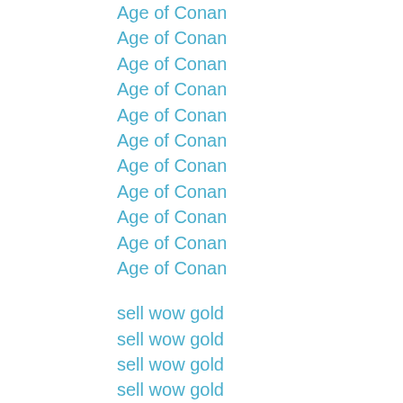Age of Conan
Age of Conan
Age of Conan
Age of Conan
Age of Conan
Age of Conan
Age of Conan
Age of Conan
Age of Conan
Age of Conan
Age of Conan
sell wow gold
sell wow gold
sell wow gold
sell wow gold
sell wow gold
sell wow gold
sell wow gold
sell wow gold
sell wow gold
sell wow gold